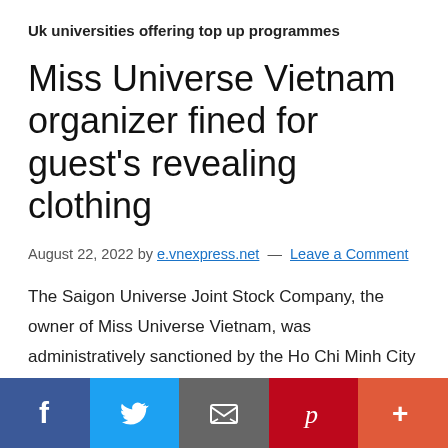Uk universities offering top up programmes
Miss Universe Vietnam organizer fined for guest's revealing clothing
August 22, 2022 by e.vnexpress.net — Leave a Comment
The Saigon Universe Joint Stock Company, the owner of Miss Universe Vietnam, was administratively sanctioned by the Ho Chi Minh City People's Committee for organizing beauty and
[Figure (other): Social sharing bar with Facebook, Twitter, Email, Pinterest, and More buttons]